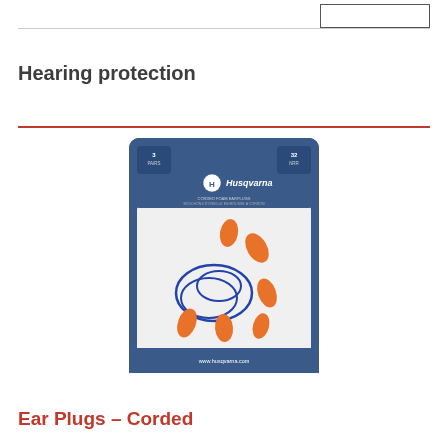Hearing protection
[Figure (photo): Husqvarna Corded Foam Earplugs package showing 3 pairs of orange foam earplugs with blue cords, NRR 32, displayed in a blue and white retail blister pack with www.husqvarna.com at the bottom]
Ear Plugs – Corded